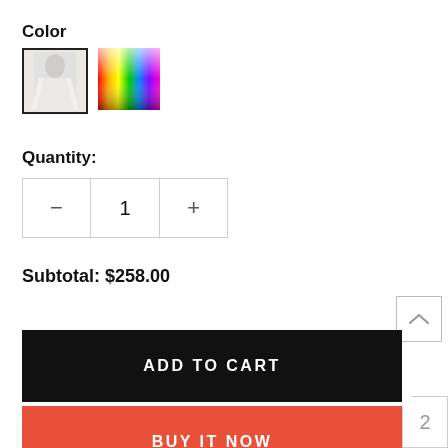Color
[Figure (screenshot): Two color swatches: first is a wedding dress photo with black border (selected), second is a rainbow/multicolor gradient square]
Quantity:
| − | 1 | + |
Subtotal:  $258.00
ADD TO CART
BUY IT NOW
Add To Wishlist